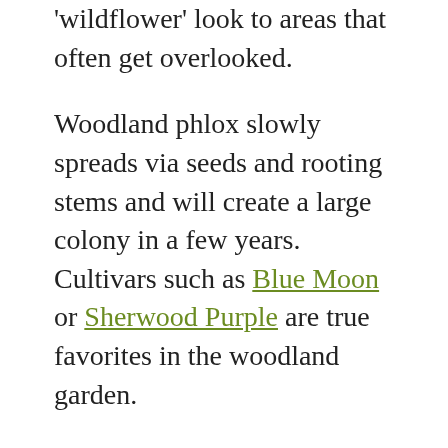'wildflower' look to areas that often get overlooked.
Woodland phlox slowly spreads via seeds and rooting stems and will create a large colony in a few years. Cultivars such as Blue Moon or Sherwood Purple are true favorites in the woodland garden.
If your shady area gets at least four hours of sun and you live in a warm climate (Z6-8), you might want to try a garden phlox in that area. They appreciate a bit of shelter from the sun and heat and will often bloom